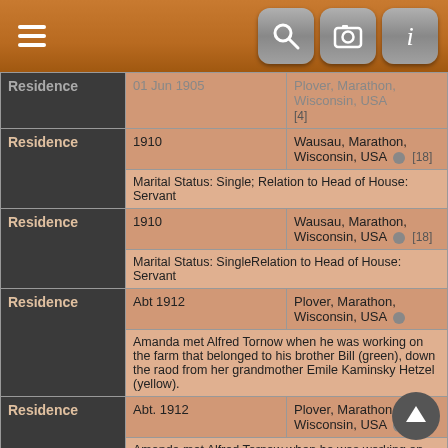[Figure (screenshot): Mobile app header bar with hamburger menu, search, camera, and info icons on brown/orange background]
| Type | Date | Place/Detail |
| --- | --- | --- |
| Residence | 01 Jun 1905 | Plover, Marathon, Wisconsin, USA [4] |
| Residence | 1910 | Wausau, Marathon, Wisconsin, USA [18] | Marital Status: Single; Relation to Head of House: Servant |
| Residence | 1910 | Wausau, Marathon, Wisconsin, USA [18] | Marital Status: SingleRelation to Head of House: Servant |
| Residence | Abt 1912 | Plover, Marathon, Wisconsin, USA | Amanda met Alfred Tornow when he was working on the farm that belonged to his brother Bill (green), down the raod from her grandmother Emile Kaminsky Hetzel (yellow). |
| Residence | Abt. 1912 | Plover, Marathon, Wisconsin, USA | Amanda met Alfred Tornow when he was working on the farm that belonged to his brother Bill (green), down the raod from her grandmother Emile Kaminsky Hetzel (yellow). |
| Residence | Aug 1914 | Plover, Marathon, Wisconsin, USA |